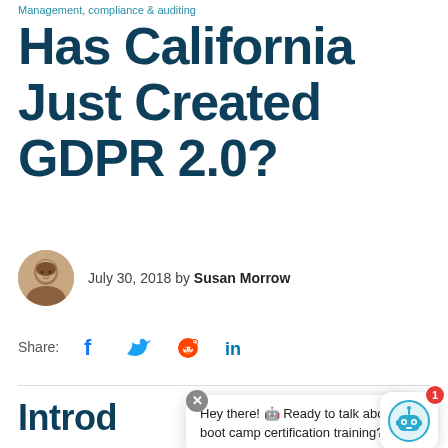Management, compliance & auditing
Has California Just Created GDPR 2.0?
July 30, 2018 by Susan Morrow
Share:
Introd
Hey there! 🤖 Ready to talk about boot camp certification training?